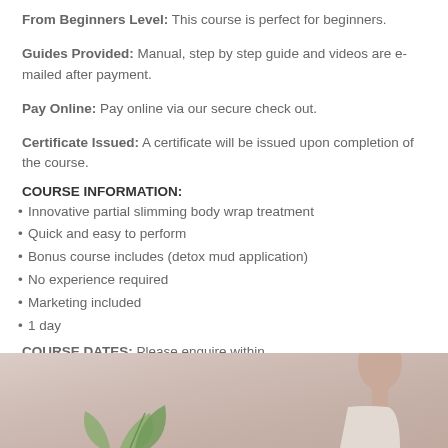From Beginners Level: This course is perfect for beginners.
Guides Provided: Manual, step by step guide and videos are e-mailed after payment.
Pay Online: Pay online via our secure check out.
Certificate Issued: A certificate will be issued upon completion of the course.
COURSE INFORMATION:
Innovative partial slimming body wrap treatment
Quick and easy to perform
Bonus course includes (detox mud application)
No experience required
Marketing included
1 day
COURSE DATES: Please enquire within.
COURSE PRICE: £300
[Figure (photo): Photo of a woman in a beauty/spa setting with a plant element in the foreground]